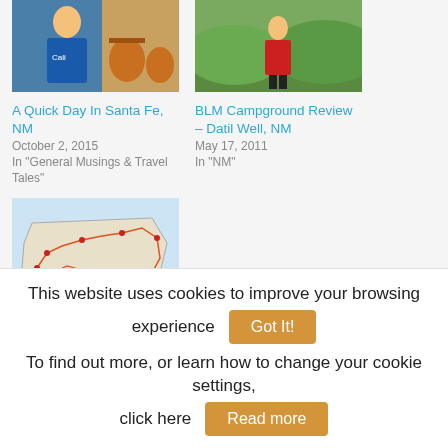[Figure (photo): Photo of person in blue shirt holding something orange, with clay pots in background]
[Figure (photo): Photo of person in red shirt on outdoor trail with green hills in background]
A Quick Day In Santa Fe, NM
BLM Campground Review – Datil Well, NM
October 2, 2015
May 17, 2011
In "General Musings & Travel Tales"
In "NM"
[Figure (map): Map of United States with route lines and location markers showing travel path]
2015 & Year 6 In Review -> 5,864 Miles
This website uses cookies to improve your browsing experience
Got It!
To find out more, or learn how to change your cookie settings, click here
Read more